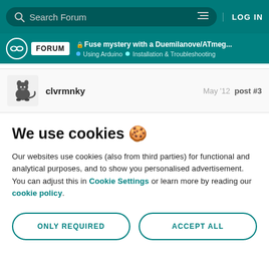Search Forum | LOG IN
FORUM | Fuse mystery with a Duemilanove/ATmeg... | Using Arduino | Installation & Troubleshooting
clvrmnky   May '12   post #3
We use cookies 🍪
Our websites use cookies (also from third parties) for functional and analytical purposes, and to show you personalised advertisement. You can adjust this in Cookie Settings or learn more by reading our cookie policy.
ONLY REQUIRED   ACCEPT ALL